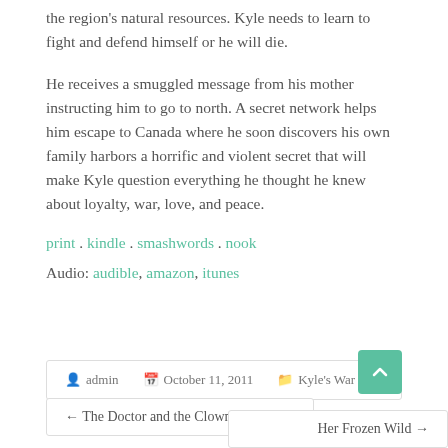the region's natural resources. Kyle needs to learn to fight and defend himself or he will die.
He receives a smuggled message from his mother instructing him to go to north. A secret network helps him escape to Canada where he soon discovers his own family harbors a horrific and violent secret that will make Kyle question everything he thought he knew about loyalty, war, love, and peace.
print . kindle . smashwords . nook
Audio: audible, amazon, itunes
admin  October 11, 2011  Kyle's War
← The Doctor and the Clown
Her Frozen Wild →